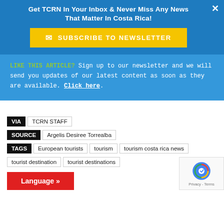Get TCRN In Your Inbox & Never Miss Any News That Matter In Costa Rica!
SUBSCRIBE TO NEWSLETTER
LIKE THIS ARTICLE? Sign up to our newsletter and we will send you updates of our latest content as soon as they are available. Click here.
VIA  TCRN STAFF
SOURCE  Argelis Desiree Torrealba
TAGS  European tourists  tourism  tourism costa rica news  tourist destination  tourist destinations
Language »